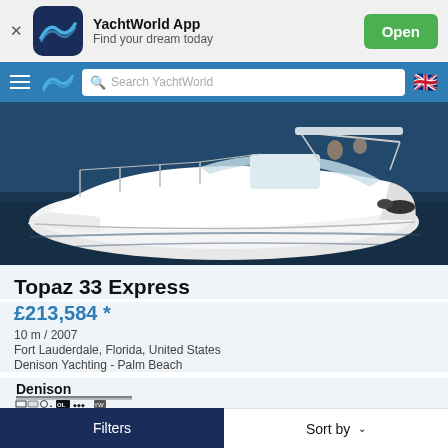[Figure (screenshot): App banner with YachtWorld logo, app name, tagline, and Open button on a light grey background]
[Figure (screenshot): Navigation bar with hamburger menu, YachtWorld swoosh logo, search bar with placeholder 'Search YachtWorld', and UK flag icon]
[Figure (photo): Photo of a white Topaz 33 Express motorboat on dark blue water]
Topaz 33 Express
£213,584 *
10 m / 2007
Fort Lauderdale, Florida, United States
Denison Yachting - Palm Beach
[Figure (logo): Denison Yachting logo]
Filters
Sort by